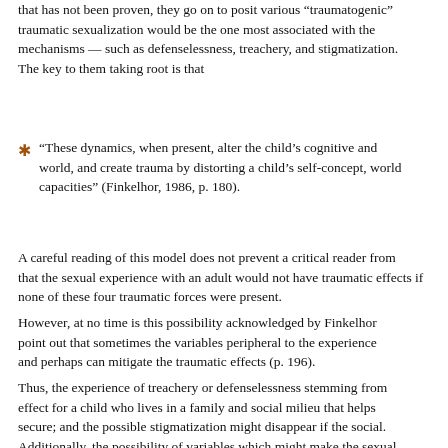that has not been proven, they go on to posit various “traumatogenic” traumatic sexualization would be the one most associated with the mechanisms — such as defenselessness, treachery, and stigmatization. The key to them taking root is that
“These dynamics, when present, alter the child’s cognitive and world, and create trauma by distorting a child’s self-concept, world view, and affective capacities” (Finkelhor, 1986, p. 180).
A careful reading of this model does not prevent a critical reader from noting that the sexual experience with an adult would not have traumatic effects if none of these four traumatic forces were present.
However, at no time is this possibility acknowledged by Finkelhor, who does point out that sometimes the variables peripheral to the experience can mitigate and perhaps can mitigate the traumatic effects (p. 196).
Thus, the experience of treachery or defenselessness stemming from effect for a child who lives in a family and social milieu that helps secure; and the possible stigmatization might disappear if the social. Additionally, the possibility of variables which might make the sexual experience traumatizing are not well developed, for although examples of the p... curiously.